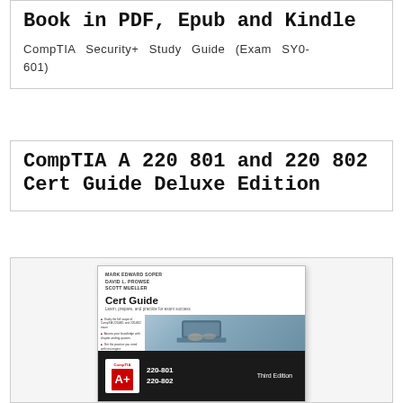Book in PDF, Epub and Kindle
CompTIA Security+ Study Guide (Exam SY0-601)
CompTIA A 220 801 and 220 802 Cert Guide Deluxe Edition
[Figure (photo): Book cover of CompTIA A+ 220-801 and 220-802 Cert Guide, Third Edition by Mark Edward Soper, David L. Prowse, Scott Mueller. Features CompTIA A+ branding with red and black design.]